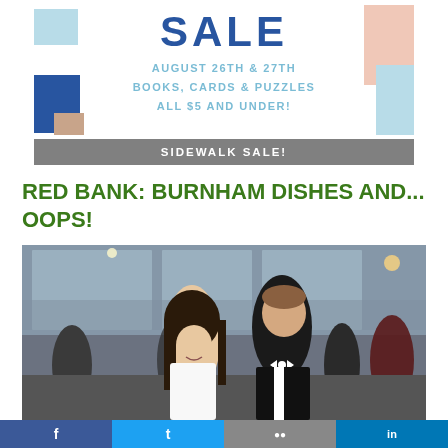[Figure (illustration): Sidewalk sale promotional banner with decorative colored blocks, large blue SALE text, subheading 'AUGUST 26TH & 27TH BOOKS, CARDS & PUZZLES ALL $5 AND UNDER!' in light blue, and a dark gray bar reading 'SIDEWALK SALE!']
RED BANK: BURNHAM DISHES AND... OOPS!
[Figure (photo): Indoor event photo showing a couple posing together — a young woman with long dark hair in a white top and a man in a tuxedo with bow tie — in a venue with large windows overlooking water, with other formally dressed guests in the background.]
Facebook | Twitter | (social share icons)